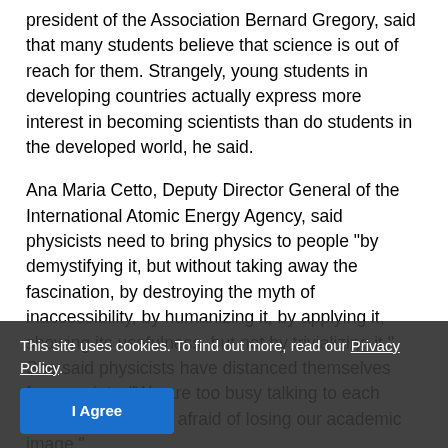president of the Association Bernard Gregory, said that many students believe that science is out of reach for them. Strangely, young students in developing countries actually express more interest in becoming scientists than do students in the developed world, he said.
Ana Maria Cetto, Deputy Director General of the International Atomic Energy Agency, said physicists need to bring physics to people "by demystifying it, but without taking away the fascination, by destroying the myth of inaccessibility, by humanizing it, by applying it, showing its usefulness, but not by trivializing it." She said physicists have distanced themselves from society. "We are too busy talking to each other or we are too afraid of losing our academic image."
Many speakers emphasized the importance of physics and the value of the international physics community coming together. Chen Jiaer, Past-President of the National Natural Science Foundation of China, said, "Without physics and science the world would lose its very nature and modern society ... there are new challenges and action that must be
This site uses cookies. To find out more, read our Privacy Policy.